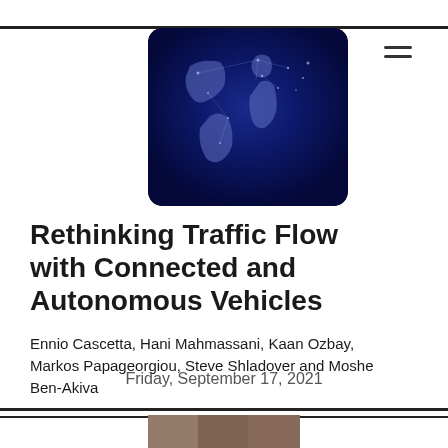[Figure (illustration): Globe/world map image with blue illuminated night lights, showing continents, with rounded corners, used as a journal or publication logo.]
Rethinking Traffic Flow with Connected and Autonomous Vehicles
Ennio Cascetta, Hani Mahmassani, Kaan Ozbay, Markos Papageorgiou, Steve Shladover and Moshe Ben-Akiva
Friday, September 17, 2021